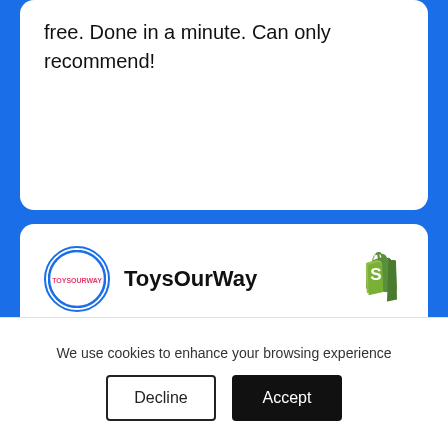free. Done in a minute. Can only recommend!
ToysOurWay
2 years ago ★★★★★
Amazing and easy to use app! They have great support also, they answered all my questions right away.
We use cookies to enhance your browsing experience